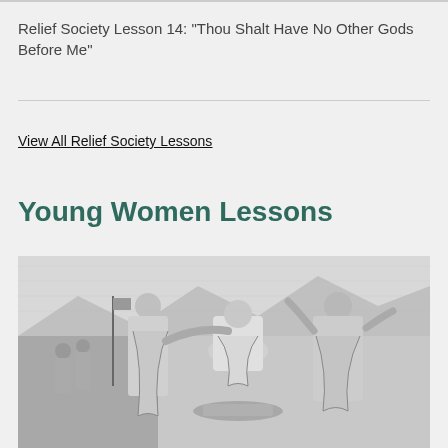Relief Society Lesson 14: “Thou Shalt Have No Other Gods Before Me”
View All Relief Society Lessons
Young Women Lessons
[Figure (illustration): Black and white engraving-style illustration of biblical figures in robes, with one figure kneeling and others standing around, with a landscape and flag visible in the background.]